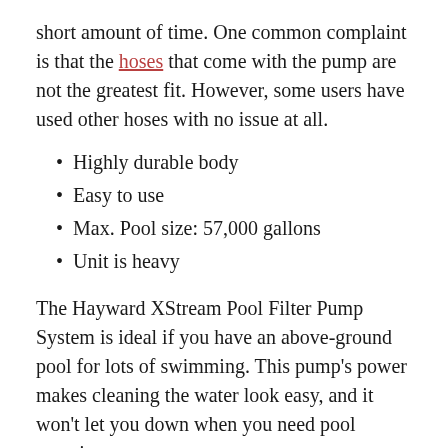short amount of time. One common complaint is that the hoses that come with the pump are not the greatest fit. However, some users have used other hoses with no issue at all.
Highly durable body
Easy to use
Max. Pool size: 57,000 gallons
Unit is heavy
The Hayward XStream Pool Filter Pump System is ideal if you have an above-ground pool for lots of swimming. This pump’s power makes cleaning the water look easy, and it won’t let you down when you need pool exercise.